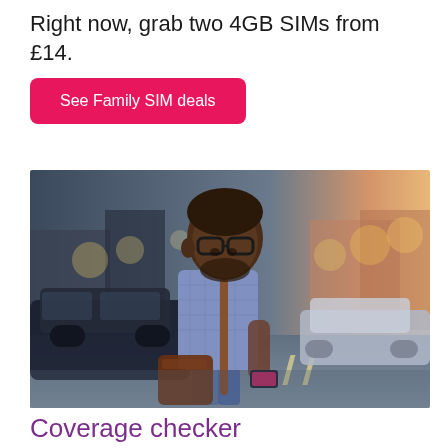Right now, grab two 4GB SIMs from £14.
See Family SIM deals
[Figure (photo): A man in a light blue checked shirt and glasses, carrying a brown leather bag, looking at his smartphone while walking on a busy city street with cars and blurred lights in the background.]
Coverage checker